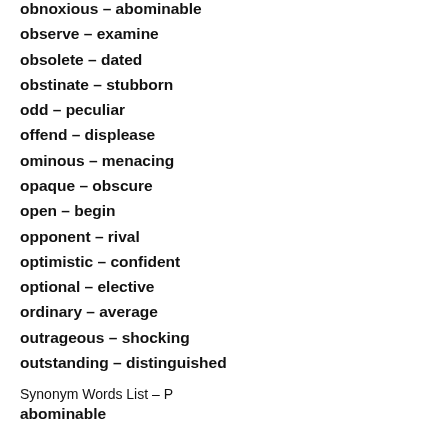obnoxious – abominable
observe – examine
obsolete – dated
obstinate – stubborn
odd – peculiar
offend – displease
ominous – menacing
opaque – obscure
open – begin
opponent – rival
optimistic – confident
optional – elective
ordinary – average
outrageous – shocking
outstanding – distinguished
Synonym Words List – P
abominable